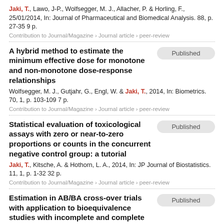Jaki, T., Lawo, J-P., Wolfsegger, M. J., Allacher, P. & Horling, F., 25/01/2014, In: Journal of Pharmaceutical and Biomedical Analysis. 88, p. 27-35 9 p.
Contribution to Journal/Magazine › Journal article › peer-review
A hybrid method to estimate the minimum effective dose for monotone and non-monotone dose-response relationships
Published
Wolfsegger, M. J., Gutjahr, G., Engl, W. & Jaki, T., 2014, In: Biometrics. 70, 1, p. 103-109 7 p.
Contribution to Journal/Magazine › Journal article › peer-review
Statistical evaluation of toxicological assays with zero or near-to-zero proportions or counts in the concurrent negative control group: a tutorial
Published
Jaki, T., Kitsche, A. & Hothorn, L. A., 2014, In: JP Journal of Biostatistics. 11, 1, p. 1-32 32 p.
Contribution to Journal/Magazine › Journal article › peer-review
Estimation in AB/BA cross-over trials with application to bioequivalence studies with incomplete and complete data designs
Published
Jaki, T., Pallmann, P. & Wolfsegger, M. J., 30/12/2013, In: Statistics in Medicine. 32, 30, p. 5469-5483 15 p.